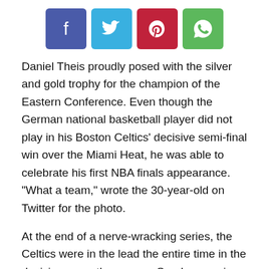[Figure (other): Social media share buttons: Facebook (blue-purple), Twitter (light blue), Pinterest (red), WhatsApp (green)]
Daniel Theis proudly posed with the silver and gold trophy for the champion of the Eastern Conference. Even though the German national basketball player did not play in his Boston Celtics' decisive semi-final win over the Miami Heat, he was able to celebrate his first NBA finals appearance. “What a team,” wrote the 30-year-old on Twitter for the photo.
At the end of a nerve-wracking series, the Celtics were in the lead the entire time in the decisive seventh game on Sunday evening (local time) and in the end won a deserved 100-96 (55-49). For the first time since 2010, Boston is back in the final. There it is against the Golden State Warriors about superstar Stephen Curry and his congenial partner Klay Thompson, who returned this season after a year-long injury break.